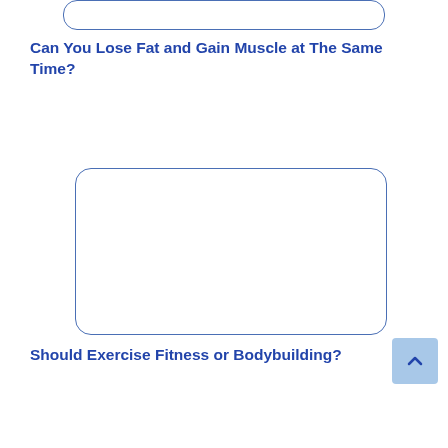[Figure (other): Rounded rectangle box at top, empty placeholder]
Can You Lose Fat and Gain Muscle at The Same Time?
[Figure (other): Large rounded rectangle image placeholder box]
Should Exercise Fitness or Bodybuilding?